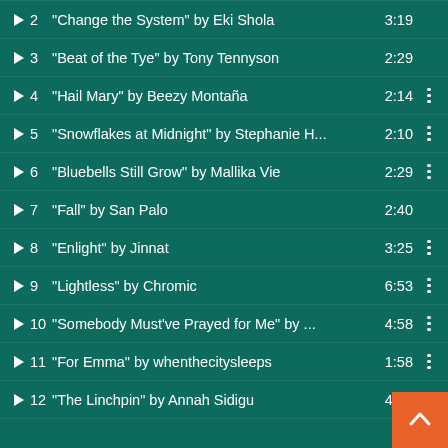2 "Change the System" by Eki Shola 3:19
3 "Beat of the Tye" by Tony Tennyson 2:29
4 "Hail Mary" by Beezy Montaña 2:14
5 "Snowflakes at Midnight" by Stephanie H... 2:10
6 "Bluebells Still Grow" by Mallika Vie 2:29
7 "Fall" by San Palo 2:40
8 "Enlight" by Jinnat 3:25
9 "Lightless" by Chromic 6:53
10 "Somebody Must've Prayed for Me" by ... 4:58
11 "For Emma" by whenthecitysleeps 1:58
12 "The Linchpin" by Annah Sidigu 4:39